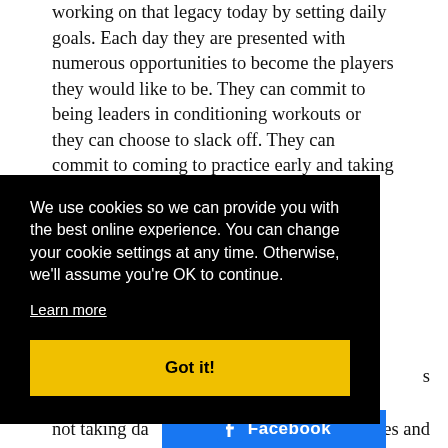working on that legacy today by setting daily goals. Each day they are presented with numerous opportunities to become the players they would like to be. They can commit to being leaders in conditioning workouts or they can choose to slack off. They can commit to coming to practice early and taking extra batting practice, or they can choose to show up just seconds before practice starts. They
We use cookies so we can provide you with the best online experience. You can change your cookie settings at any time. Otherwise, we'll assume you're OK to continue.
Learn more
Got it!
not taking da          es and